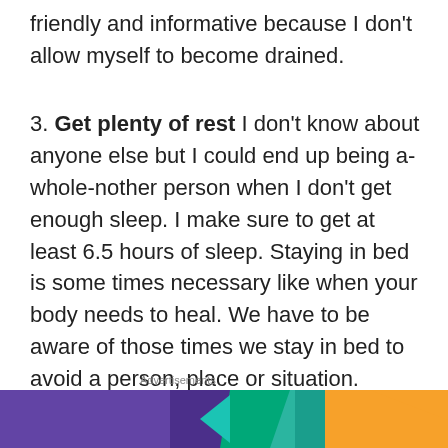friendly and informative because I don’t allow myself to become drained.
3. Get plenty of rest I don’t know about anyone else but I could end up being a-whole-nother person when I don’t get enough sleep. I make sure to get at least 6.5 hours of sleep. Staying in bed is some times necessary like when your body needs to heal. We have to be aware of those times we stay in bed to avoid a person, place or situation. Having a healthy sleep pattern allows us to be alert, aware and conscious in everyday life.
Advertisements
[Figure (other): Colorful advertisement banner with purple, teal, green and orange shapes]